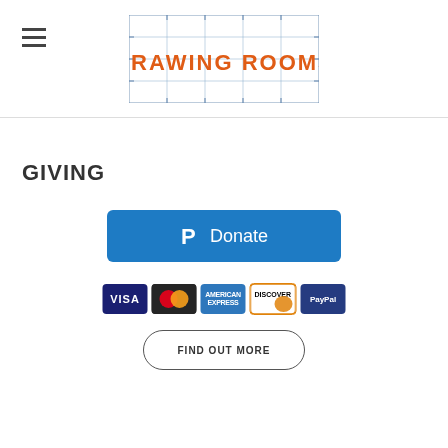DRAWING ROOMS
GIVING
[Figure (other): PayPal Donate button — blue rounded rectangle with PayPal P icon and 'Donate' text in white]
[Figure (other): Payment method icons: VISA, Mastercard, American Express, Discover, PayPal]
FIND OUT MORE